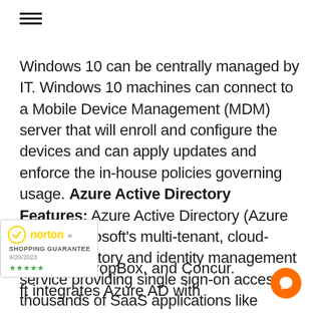≡
Windows 10 can be centrally managed by IT. Windows 10 machines can connect to a Mobile Device Management (MDM) server that will enroll and configure the devices and can apply updates and enforce the in-house policies governing usage. Azure Active Directory Features: Azure Active Directory (Azure AD) is Microsoft's multi-tenant, cloud-based directory and identity management service providing single sign-on access to thousands of SaaS applications like Office365, Salesforce.com, DropBox, and Concur. Microsoft integrates Azure AD with
[Figure (logo): Norton Shopping Guarantee badge with yellow checkmark and date 9/20/2023]
[Figure (other): Orange circular chat/support button]